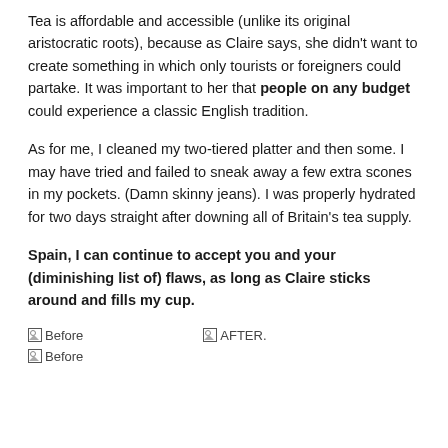Tea is affordable and accessible (unlike its original aristocratic roots), because as Claire says, she didn't want to create something in which only tourists or foreigners could partake. It was important to her that people on any budget could experience a classic English tradition.
As for me, I cleaned my two-tiered platter and then some. I may have tried and failed to sneak away a few extra scones in my pockets. (Damn skinny jeans). I was properly hydrated for two days straight after downing all of Britain's tea supply.
Spain, I can continue to accept you and your (diminishing list of) flaws, as long as Claire sticks around and fills my cup.
[Figure (photo): Broken image placeholder labeled 'Before']
[Figure (photo): Broken image placeholder labeled 'AFTER.']
[Figure (photo): Broken image placeholder labeled 'Before']